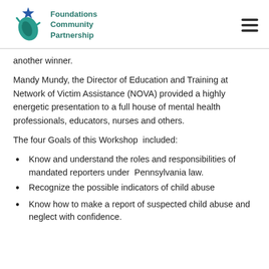Foundations Community Partnership
another winner.
Mandy Mundy, the Director of Education and Training at Network of Victim Assistance (NOVA) provided a highly energetic presentation to a full house of mental health professionals, educators, nurses and others.
The four Goals of this Workshop  included:
Know and understand the roles and responsibilities of mandated reporters under  Pennsylvania law.
Recognize the possible indicators of child abuse
Know how to make a report of suspected child abuse and neglect with confidence.